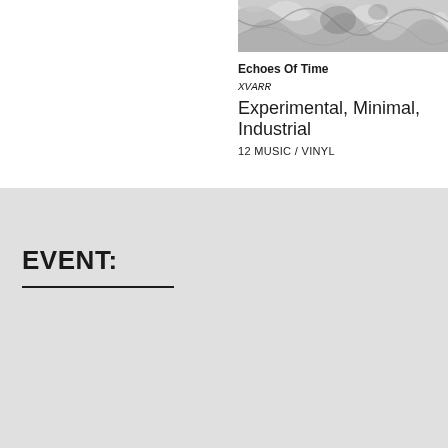[Figure (photo): Marbled black and white swirling pattern, partial album cover image cropped at top of page]
Echoes Of Time
XVARR
Experimental, Minimal, Industrial
12 MUSIC / VINYL
EVENT: